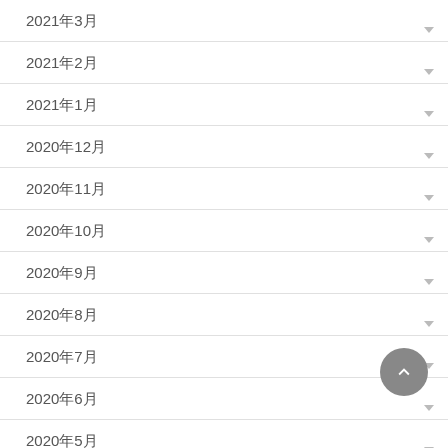2021年3月
2021年2月
2021年1月
2020年12月
2020年11月
2020年10月
2020年9月
2020年8月
2020年7月
2020年6月
2020年5月